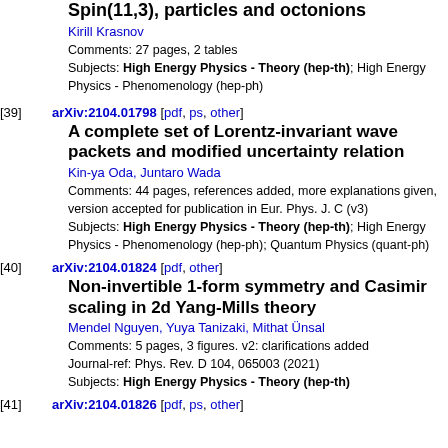Spin(11,3), particles and octonions
Kirill Krasnov
Comments: 27 pages, 2 tables
Subjects: High Energy Physics - Theory (hep-th); High Energy Physics - Phenomenology (hep-ph)
[39] arXiv:2104.01798 [pdf, ps, other]
A complete set of Lorentz-invariant wave packets and modified uncertainty relation
Kin-ya Oda, Juntaro Wada
Comments: 44 pages, references added, more explanations given, version accepted for publication in Eur. Phys. J. C (v3)
Subjects: High Energy Physics - Theory (hep-th); High Energy Physics - Phenomenology (hep-ph); Quantum Physics (quant-ph)
[40] arXiv:2104.01824 [pdf, other]
Non-invertible 1-form symmetry and Casimir scaling in 2d Yang-Mills theory
Mendel Nguyen, Yuya Tanizaki, Mithat Ünsal
Comments: 5 pages, 3 figures. v2: clarifications added
Journal-ref: Phys. Rev. D 104, 065003 (2021)
Subjects: High Energy Physics - Theory (hep-th)
[41] arXiv:2104.01826 [pdf, ps, other]